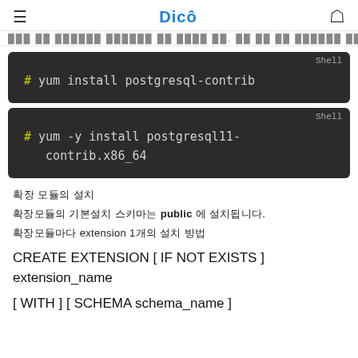Dicô
한글 텍스트 (blurred/redacted top navigation text)
[Figure (screenshot): Dark code block showing shell command: # yum install postgresql-contrib, labeled 'Shell']
[Figure (screenshot): Dark code block showing shell command: # yum -y install postgresql11-contrib.x86_64, labeled 'Shell']
확장 모듈의 설치
확장모듈의 기본설치 스키마는 public 에 설치됩니다.
확장모듈마다 extension 1개의 설치 방법
CREATE EXTENSION [ IF NOT EXISTS ] extension_name
[ WITH ] [ SCHEMA schema_name ]